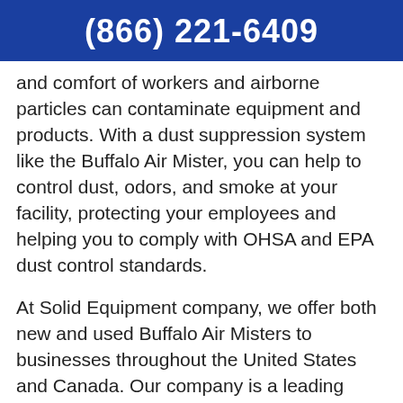(866) 221-6409
and comfort of workers and airborne particles can contaminate equipment and products. With a dust suppression system like the Buffalo Air Mister, you can help to control dust, odors, and smoke at your facility, protecting your employees and helping you to comply with OHSA and EPA dust control standards.
At Solid Equipment company, we offer both new and used Buffalo Air Misters to businesses throughout the United States and Canada. Our company is a leading provider of equipment to the industrial recycling industry, including products such as dust suppression systems, scrap metal balers, scrap handling magnets, wire granulators, industrial wire strippers, and more. We work with a variety of industrial